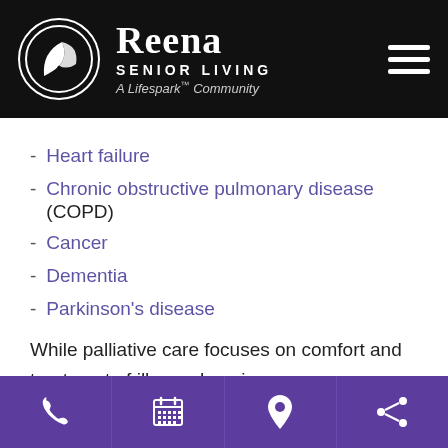[Figure (logo): Reena Senior Living - A Lifespark Community logo with circular bird/leaf icon on black header background with hamburger menu icon]
Heart failure
Chronic obstructive pulmonary disease (COPD)
Cancer
Dementia
Parkinson's disease
While palliative care focuses on comfort and treatment of illness, hospice care comfort.
[Figure (screenshot): Font resize control bar showing + Reset - buttons on black background]
Phone | Calendar | Location | Share icons